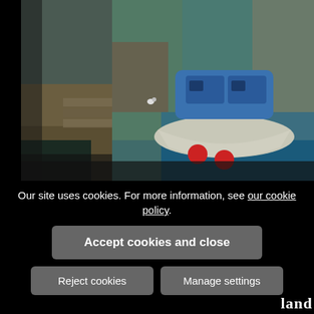[Figure (illustration): An oil painting of a harbor scene with a blue and white motorboat moored next to a stone pier/dock, with reflections in green-teal water and a bird visible on the dock.]
Our site uses cookies. For more information, see our cookie policy.
Accept cookies and close
Reject cookies
Manage settings
land